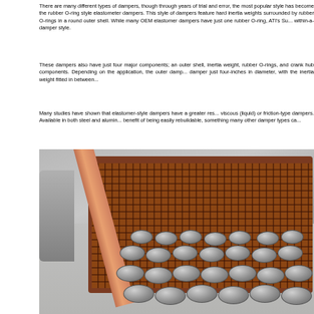There are many different types of dampers, though through years of trial and error, the most popular style has become the rubber O-ring style elastometer dampers. This style of dampers feature hard inertia weights surrounded by rubber O-rings in a round outer shell. While many OEM elastomer dampers have just one rubber O-ring, ATI's Su... within-a-damper style.
These dampers also have just four major components; an outer shell, inertia weight, rubber O-rings, and crank hub components. Depending on the application, the outer damp... damper just four-inches in diameter, with the inertia weight fitted in between...
Many studies have shown that elastomer-style dampers have a greater res... viscous (liquid) or friction-type dampers. Available in both steel and alumin... benefit of being easily rebuildable, something many other damper types ca...
[Figure (photo): Industrial photo showing a large metal wire crate/basket on a concrete floor with numerous small cylindrical metal slugs/weights scattered in front of it. A copper or pink diagonal bar is visible on the left side. A gray disc is partially visible at the far left.]